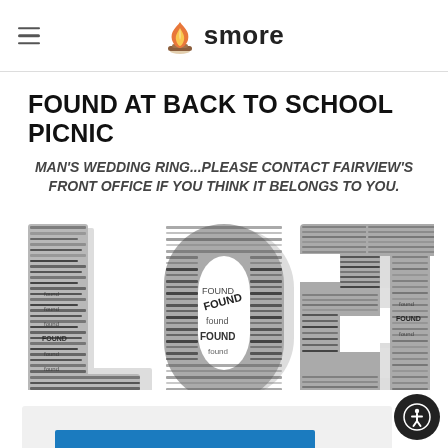smore (navigation header with hamburger menu and smore logo)
FOUND AT BACK TO SCHOOL PICNIC
MAN'S WEDDING RING...PLEASE CONTACT FAIRVIEW'S FRONT OFFICE IF YOU THINK IT BELONGS TO YOU.
[Figure (illustration): Word-art image spelling out 'LOST' composed of many small repetitions of the words 'FOUND' and 'found' in various sizes and orientations, rendered in black and gray text.]